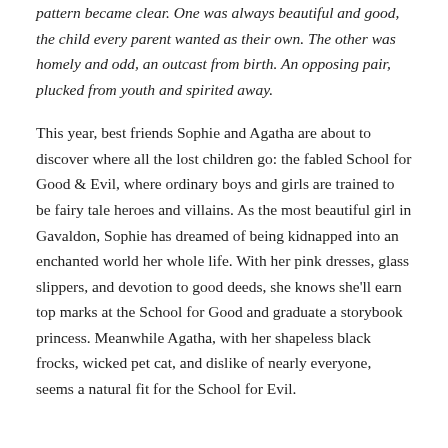pattern became clear. One was always beautiful and good, the child every parent wanted as their own. The other was homely and odd, an outcast from birth. An opposing pair, plucked from youth and spirited away.
This year, best friends Sophie and Agatha are about to discover where all the lost children go: the fabled School for Good & Evil, where ordinary boys and girls are trained to be fairy tale heroes and villains. As the most beautiful girl in Gavaldon, Sophie has dreamed of being kidnapped into an enchanted world her whole life. With her pink dresses, glass slippers, and devotion to good deeds, she knows she'll earn top marks at the School for Good and graduate a storybook princess. Meanwhile Agatha, with her shapeless black frocks, wicked pet cat, and dislike of nearly everyone, seems a natural fit for the School for Evil.